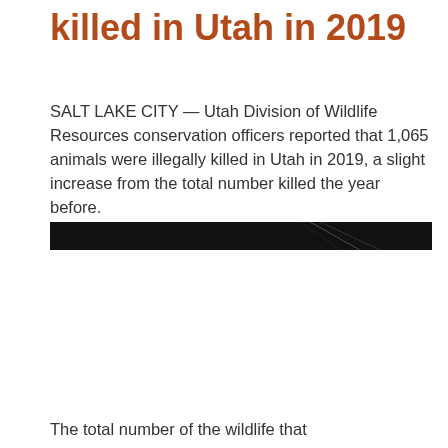killed in Utah in 2019
SALT LAKE CITY — Utah Division of Wildlife Resources conservation officers reported that 1,065 animals were illegally killed in Utah in 2019, a slight increase from the total number killed the year before.
[Figure (photo): A dark, narrow horizontal strip showing a wildlife/nature scene, mostly black with some lighter diagonal elements visible]
The total number of the wildlife that...